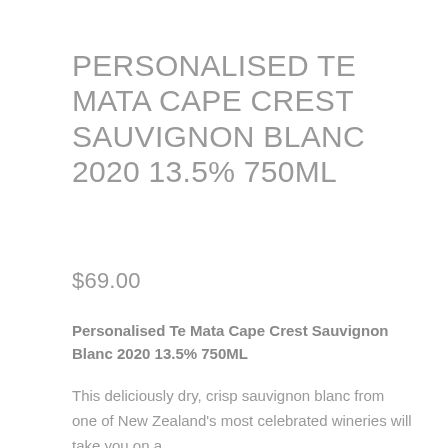PERSONALISED TE MATA CAPE CREST SAUVIGNON BLANC 2020 13.5% 750ML
$69.00
Personalised Te Mata Cape Crest Sauvignon Blanc 2020 13.5% 750ML
This deliciously dry, crisp sauvignon blanc from one of New Zealand's most celebrated wineries will take you on a